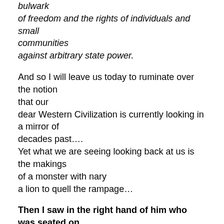bulwark
of freedom and the rights of individuals and small communities
against arbitrary state power.
And so I will leave us today to ruminate over the notion that our
dear Western Civilization is currently looking in a mirror of decades past….
Yet what we are seeing looking back at us is the makings of a monster with nary
a lion to quell the rampage…
Then I saw in the right hand of him who was seated on the throne a scroll
written within and on the back, sealed with seven seals.
And I saw a right strong angel proclaiming with a loud...